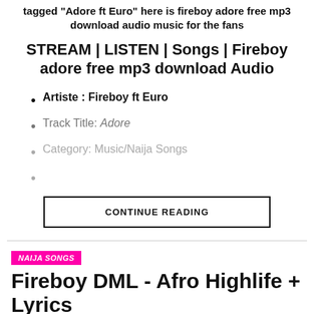tagged “Adore ft Euro” here is fireboy adore free mp3 download audio music for the fans
STREAM | LISTEN | Songs | Fireboy adore free mp3 download Audio
Artiste : Fireboy ft Euro
Track Title: Adore
Category: Music/Naija Songs
CONTINUE READING
NAIJA SONGS
Fireboy DML - Afro Highlife + Lyrics
Published 6 days ago   August 27, 2022